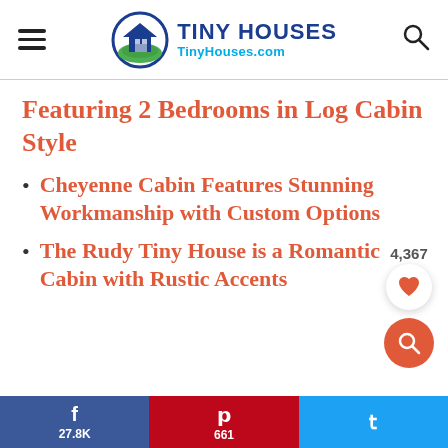TINY HOUSES TinyHouses.com
Featuring 2 Bedrooms in Log Cabin Style
Cheyenne Cabin Features Stunning Workmanship with Custom Options
The Rudy Tiny House is a Romantic Cabin with Rustic Accents
27.8K  661